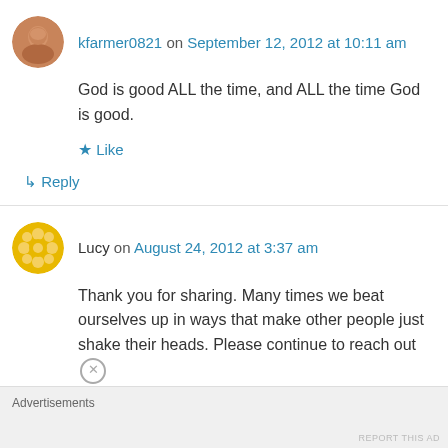kfarmer0821 on September 12, 2012 at 10:11 am
God is good ALL the time, and ALL the time God is good.
★ Like
↳ Reply
Lucy on August 24, 2012 at 3:37 am
Thank you for sharing. Many times we beat ourselves up in ways that make other people just shake their heads. Please continue to reach out
Advertisements